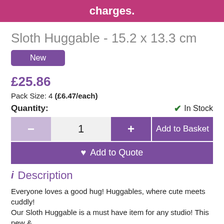charges.
Sloth Huggable - 15.2 x 13.3 cm
New
£25.86
Pack Size: 4 (£6.47/each)
Quantity:
In Stock
1
Add to Basket
Add to Quote
Description
Everyone loves a good hug! Huggables, where cute meets cuddly! Our Sloth Huggable is a must have item for any studio! This new &